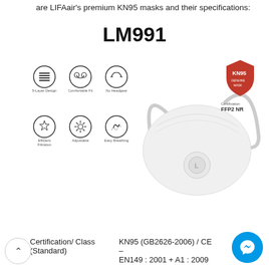are LIFAair's premium KN95 masks and their specifications:
LM991
[Figure (photo): Product image of LIFAair LM991 KN95 mask (white respirator with head straps, KN95 badge, FFP2 NR certification label) alongside six feature icons: 5-Layer Design, Comfortable Fit, No Headgear, Efficient Filtration, Adjustable, Easy Breathing]
|  |  |
| --- | --- |
| Certification/ Class (Standard) | KN95 (GB2626-2006) / CE – EN149 : 2001 + A1 : 2009 |